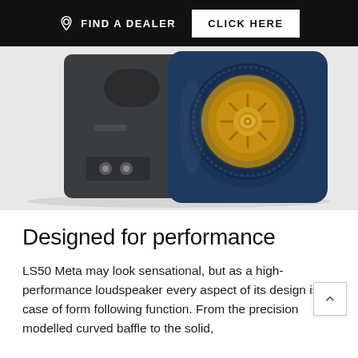FIND A DEALER   CLICK HERE
[Figure (photo): Two KEF LS50 Meta loudspeakers photographed side-by-side. The left speaker shows the rear panel in dark grey/charcoal with binding posts. The right speaker shows the front baffle in navy blue with the signature Uni-Q driver featuring a gold/copper colored concentric cone design.]
Designed for performance
LS50 Meta may look sensational, but as a high-performance loudspeaker every aspect of its design is a case of form following function. From the precision modelled curved baffle to the solid,